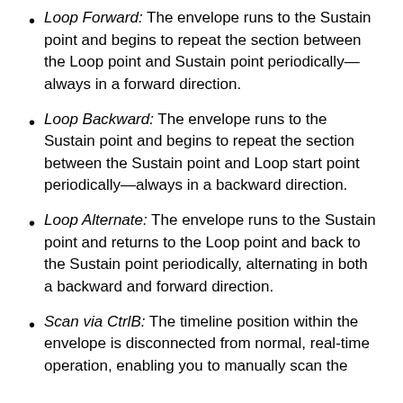Loop Forward: The envelope runs to the Sustain point and begins to repeat the section between the Loop point and Sustain point periodically—always in a forward direction.
Loop Backward: The envelope runs to the Sustain point and begins to repeat the section between the Sustain point and Loop start point periodically—always in a backward direction.
Loop Alternate: The envelope runs to the Sustain point and returns to the Loop point and back to the Sustain point periodically, alternating in both a backward and forward direction.
Scan via CtrlB: The timeline position within the envelope is disconnected from normal, real-time operation, enabling you to manually scan the